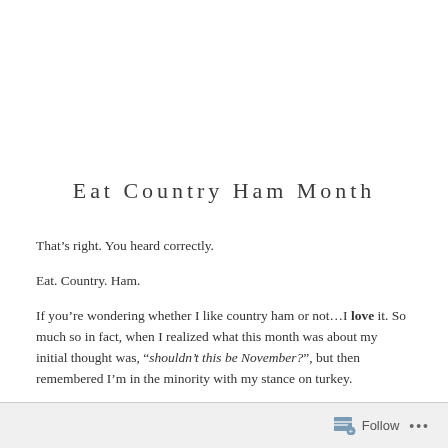Eat Country Ham Month
That’s right. You heard correctly.
Eat. Country. Ham.
If you’re wondering whether I like country ham or not…I love it. So much so in fact, when I realized what this month was about my initial thought was, “shouldn’t this be November?”, but then remembered I’m in the minority with my stance on turkey.
Follow ...